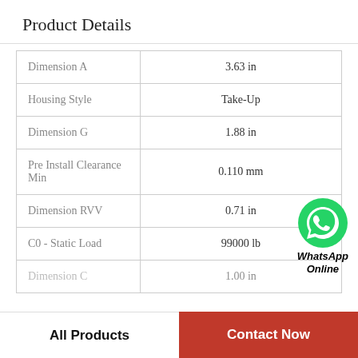Product Details
| Property | Value |
| --- | --- |
| Dimension A | 3.63 in |
| Housing Style | Take-Up |
| Dimension G | 1.88 in |
| Pre Install Clearance Min | 0.110 mm |
| Dimension RVV | 0.71 in |
| C0 - Static Load | 99000 lb |
| Dimension C | 1.00 in |
[Figure (logo): WhatsApp Online icon with green phone logo and bold italic text 'WhatsApp Online']
All Products
Contact Now